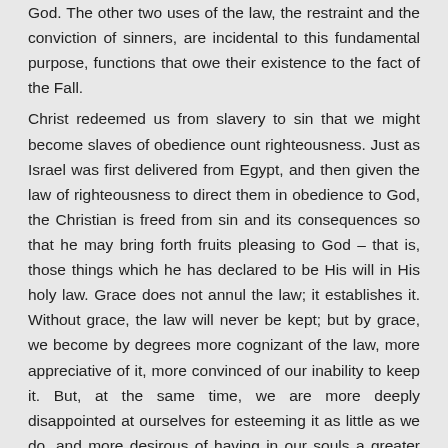God. The other two uses of the law, the restraint and the conviction of sinners, are incidental to this fundamental purpose, functions that owe their existence to the fact of the Fall.
Christ redeemed us from slavery to sin that we might become slaves of obedience ount righteousness. Just as Israel was first delivered from Egypt, and then given the law of righteousness to direct them in obedience to God, the Christian is freed from sin and its consequences so that he may bring forth fruits pleasing to God – that is, those things which he has declared to be His will in His holy law. Grace does not annul the law; it establishes it. Without grace, the law will never be kept; but by grace, we become by degrees more cognizant of the law, more appreciative of it, more convinced of our inability to keep it. But, at the same time, we are more deeply disappointed at ourselves for esteeming it as little as we do, and more desirous of having in our souls a greater love for God and a more perfect obedience.
The law does not take the central place in the exposition of Christianity, and it does not become the sole focus of the Christian life. The glorious Gospel of the grace of God is...